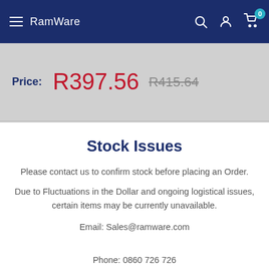RamWare
Price: R397.56  R415.64
Stock Issues
Please contact us to confirm stock before placing an Order.
Due to Fluctuations in the Dollar and ongoing logistical issues, certain items may be currently unavailable.
Email: Sales@ramware.com
Phone: 0860 726 726